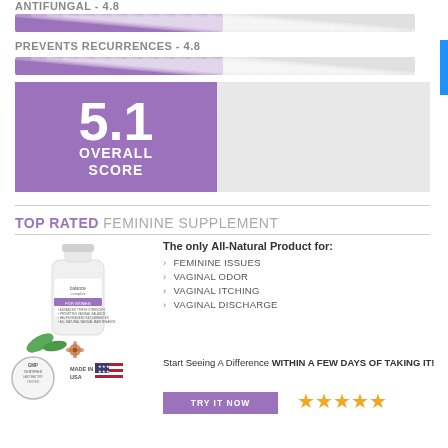ANTIFUNGAL - 4.8
[Figure (bar-chart): ANTIFUNGAL]
PREVENTS RECURRENCES - 4.8
[Figure (bar-chart): PREVENTS RECURRENCES]
[Figure (infographic): Purple box showing 5.1 OVERALL SCORE with grey area to the right]
TOP RATED FEMININE SUPPLEMENT
[Figure (photo): Balance Complex supplement bottle with herbs]
The only All-Natural Product for:
FEMININE ISSUES
VAGINAL ODOR
VAGINAL ITCHING
VAGINAL DISCHARGE
Start Seeing A Difference WITHIN A FEW DAYS OF TAKING IT!
[Figure (logo): GMP Certified and Made in USA badges]
TRY IT NOW
[Figure (infographic): Five gold stars rating]